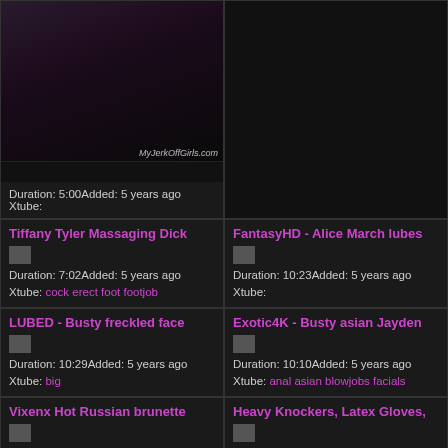[Figure (photo): Thumbnail photo of a woman]
Duration: 5:00Added: 5 years ago
Xtube:
[Figure (photo): Empty/dark panel top right]
Tiffany Tyler Massaging Dick
[Figure (photo): Broken image thumbnail]
Duration: 7:02Added: 5 years ago
Xtube: cock erect foot footjob
FantasyHD - Alice March lubes
[Figure (photo): Broken image thumbnail]
Duration: 10:23Added: 5 years ago
Xtube:
LUBED - Busty freckled face
[Figure (photo): Broken image thumbnail]
Duration: 10:29Added: 5 years ago
Xtube: big
Exotic4K - Busty asian Jayden
[Figure (photo): Broken image thumbnail]
Duration: 10:10Added: 5 years ago
Xtube: anal asian blowjobs facials
Vixenx Hot Russian brunette
[Figure (photo): Broken image thumbnail]
Duration: 8:10Added: 5 years ago
Xtube:
Heavy Knockers, Latex Gloves,
[Figure (photo): Broken image thumbnail]
Duration: 1:14Added: 5 years ago
Xtube: hardcore latex tits handjobs